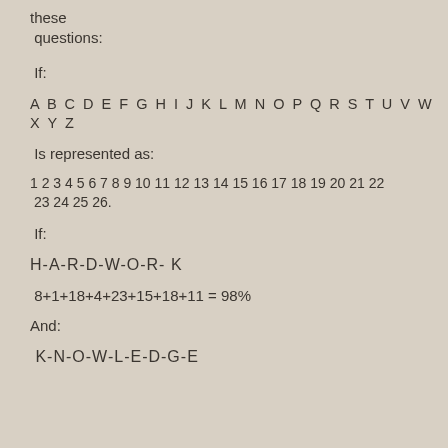these questions:
If:
A B C D E F G H I J K L M N O P Q R S T U V W X Y Z
Is represented as:
1 2 3 4 5 6 7 8 9 10 11 12 13 14 15 16 17 18 19 20 21 22 23 24 25 26.
If:
H-A-R-D-W-O-R-K
8+1+18+4+23+15+18+11 = 98%
And:
K-N-O-W-L-E-D-G-E